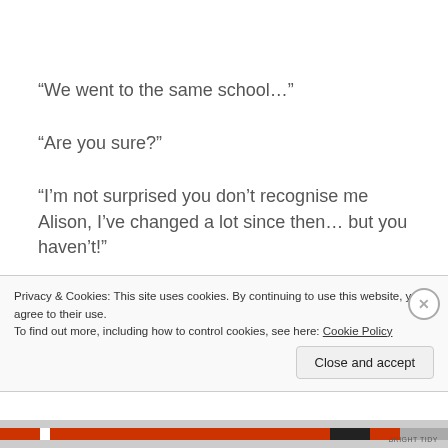“We went to the same school…”
“Are you sure?”
“I’m not surprised you don’t recognise me Alison, I’ve changed a lot since then… but you haven’t!”
I smiled quizzically as I tried to place the man who was
Privacy & Cookies: This site uses cookies. By continuing to use this website, you agree to their use.
To find out more, including how to control cookies, see here: Cookie Policy
Close and accept